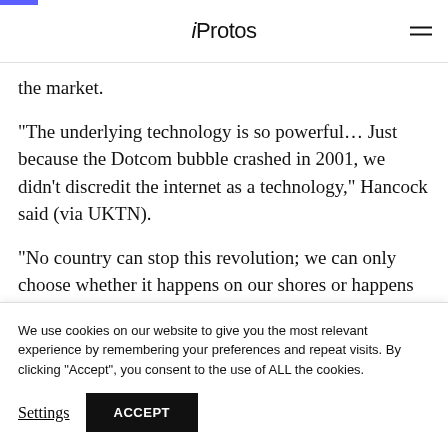iProtos
the market.
“The underlying technology is so powerful… Just because the Dotcom bubble crashed in 2001, we didn’t discredit the internet as a technology,” Hancock said (via UKTN).
“No country can stop this revolution; we can only choose whether it happens on our shores or happens
We use cookies on our website to give you the most relevant experience by remembering your preferences and repeat visits. By clicking “Accept”, you consent to the use of ALL the cookies.
Settings
ACCEPT